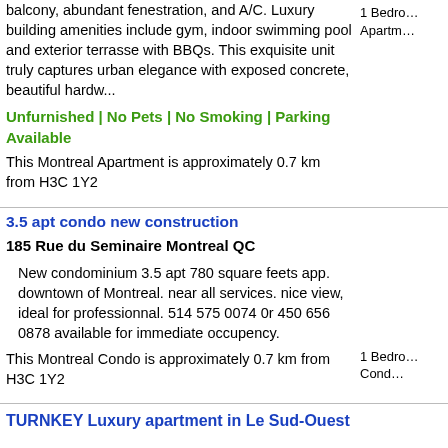balcony, abundant fenestration, and A/C. Luxury building amenities include gym, indoor swimming pool and exterior terrasse with BBQs. This exquisite unit truly captures urban elegance with exposed concrete, beautiful hardw...
Unfurnished | No Pets | No Smoking | Parking Available
This Montreal Apartment is approximately 0.7 km from H3C 1Y2
1 Bedroom Apartment
3.5 apt condo new construction
185 Rue du Seminaire Montreal QC
New condominium 3.5 apt 780 square feets app. downtown of Montreal. near all services. nice view, ideal for professionnal. 514 575 0074 0r 450 656 0878 available for immediate occupency.
This Montreal Condo is approximately 0.7 km from H3C 1Y2
1 Bedroom Condo
TURNKEY Luxury apartment in Le Sud-Ouest